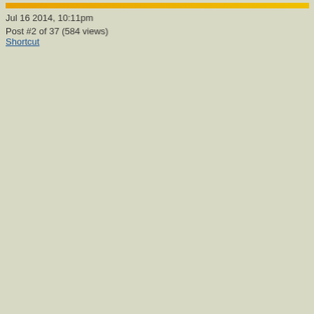Jul 16 2014, 10:11pm
Post #2 of 37 (584 views)
Shortcut
Glorfindel were agha... down, and his sw... belly of the Drag... shuddering bulk... further shore he w... in his agony, unti... lay there at last i...
Turin doesn't feel pity ... sounds excruciating. A...
Then he wrenche... black blood follo... burned by the ve...
Heroes losing hands! N... and I'm sure I'm forget... hands are quick casual... because a hand is the s... soul as well? There are... lot of a person's charac...
Are our heroes losing ... evil?
Nienor loses her mind ... to Finduilas' mound: